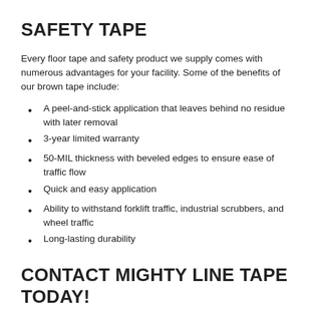SAFETY TAPE
Every floor tape and safety product we supply comes with numerous advantages for your facility. Some of the benefits of our brown tape include:
A peel-and-stick application that leaves behind no residue with later removal
3-year limited warranty
50-MIL thickness with beveled edges to ensure ease of traffic flow
Quick and easy application
Ability to withstand forklift traffic, industrial scrubbers, and wheel traffic
Long-lasting durability
CONTACT MIGHTY LINE TAPE TODAY!